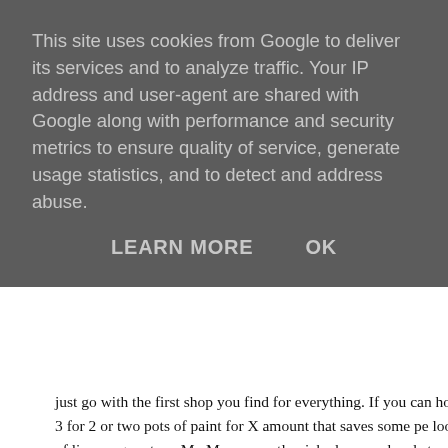This site uses cookies from Google to deliver its services and to analyze traffic. Your IP address and user-agent are shared with Google along with performance and security metrics to ensure quality of service, generate usage statistics, and to detect and address abuse.
LEARN MORE    OK
just go with the first shop you find for everything. If you can hold off paint i.e; 3 for 2 or two pots of paint for X amount that saves some pe look out for end of line ranges etc.... My Mum recently picked up son local store reduced to just £2 per 2.5 litre pot as it was old/end of rang Thing 3's bedroom sorted and at a cost of just £4.
eBay is a good place to look for new furniture if you are looking to ad or replace existing furniture. You can buy new items on eBay as well secondhand pieces and it's always worth a look before you pay full pr up looking at buying new always search for discount codes for the sto There is sometimes valid discount codes or even a discount if you sig email newsletters.